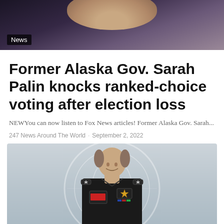[Figure (photo): Top photo showing a person partially visible from chin down with dark background, labeled 'News']
Former Alaska Gov. Sarah Palin knocks ranked-choice voting after election loss
NEWYou can now listen to Fox News articles! Former Alaska Gov. Sarah...
247 News Around The World · September 2, 2022
[Figure (photo): Photo of a person in black uniform/fire department attire smiling, with an official seal/watermark in the background]